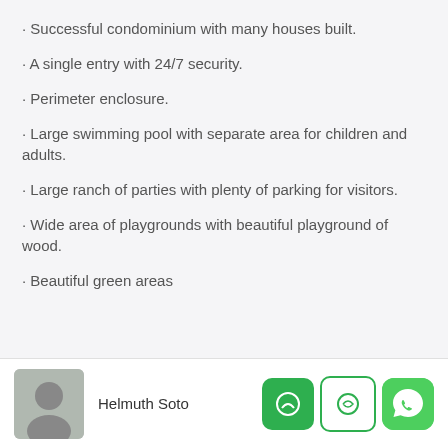· Successful condominium with many houses built.
· A single entry with 24/7 security.
· Perimeter enclosure.
· Large swimming pool with separate area for children and adults.
· Large ranch of parties with plenty of parking for visitors.
· Wide area of playgrounds with beautiful playground of wood.
· Beautiful green areas
Helmuth Soto